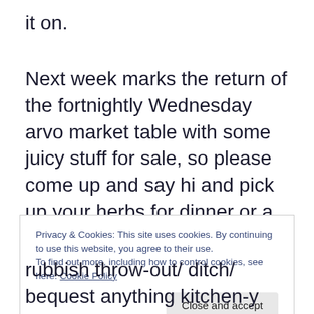it on.
Next week marks the return of the fortnightly Wednesday arvo market table with some juicy stuff for sale, so please come up and say hi and pick up your herbs for dinner or a wee pot-plant or whatever might find its way to the table…? We'll be setting up in the main playground at pick-up time.
Privacy & Cookies: This site uses cookies. By continuing to use this website, you agree to their use.
To find out more, including how to control cookies, see here: Cookie Policy
rubbish throw-out/ ditch/ bequest anything kitchen-y